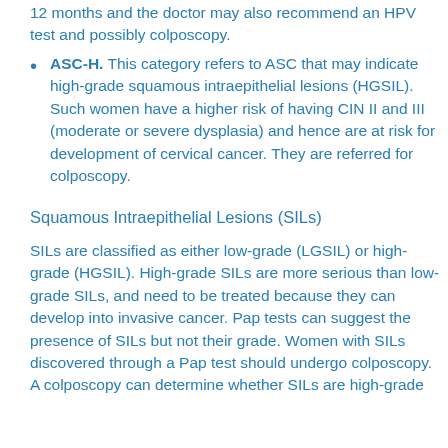12 months and the doctor may also recommend an HPV test and possibly colposcopy.
ASC-H. This category refers to ASC that may indicate high-grade squamous intraepithelial lesions (HGSIL). Such women have a higher risk of having CIN II and III (moderate or severe dysplasia) and hence are at risk for development of cervical cancer. They are referred for colposcopy.
Squamous Intraepithelial Lesions (SILs)
SILs are classified as either low-grade (LGSIL) or high-grade (HGSIL). High-grade SILs are more serious than low-grade SILs, and need to be treated because they can develop into invasive cancer. Pap tests can suggest the presence of SILs but not their grade. Women with SILs discovered through a Pap test should undergo colposcopy. A colposcopy can determine whether SILs are high-grade